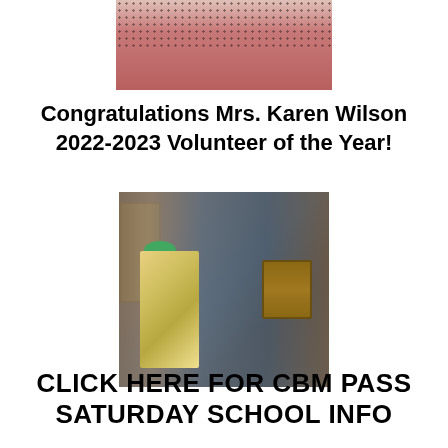[Figure (photo): Cropped photo of a person in a dark dotted top and pink/rose skirt, shown from waist up, holding something, cropped at top of page]
Congratulations Mrs. Karen Wilson 2022-2023 Volunteer of the Year!
[Figure (photo): Photo of two women standing together indoors. The woman on the left is a younger Black woman wearing glasses and a colorful outfit, holding a gift bag with a teal bow. The woman on the right is an older white woman wearing a black jacket, holding a wooden plaque with a seal on it. A chalkboard and framed items are visible in the background.]
CLICK HERE FOR CBM PASS SATURDAY SCHOOL INFO